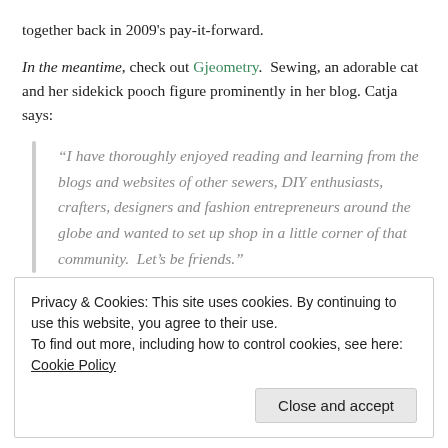together back in 2009's pay-it-forward.
In the meantime, check out Gjeometry.  Sewing, an adorable cat and her sidekick pooch figure prominently in her blog. Catja says:
“I have thoroughly enjoyed reading and learning from the blogs and websites of other sewers, DIY enthusiasts, crafters, designers and fashion entrepreneurs around the globe and wanted to set up shop in a little corner of that community.  Let’s be friends.”
Privacy & Cookies: This site uses cookies. By continuing to use this website, you agree to their use.
To find out more, including how to control cookies, see here: Cookie Policy
Close and accept